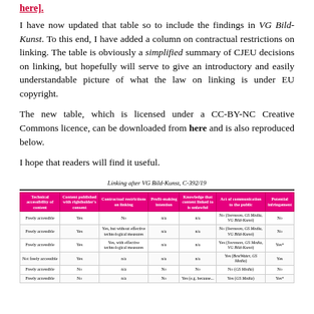here].
I have now updated that table so to include the findings in VG Bild-Kunst. To this end, I have added a column on contractual restrictions on linking. The table is obviously a simplified summary of CJEU decisions on linking, but hopefully will serve to give an introductory and easily understandable picture of what the law on linking is under EU copyright.
The new table, which is licensed under a CC-BY-NC Creative Commons licence, can be downloaded from here and is also reproduced below.
I hope that readers will find it useful.
Linking after VG Bild-Kunst, C-392/19
| Technical accessibility of content | Content published with rightholder's consent | Contractual restrictions on linking | Profit-making intention | Knowledge that content linked to is unlawful | Act of communication to the public | Potential infringement |
| --- | --- | --- | --- | --- | --- | --- |
| Freely accessible | Yes | No | n/a | n/a | No (Svensson, GS Media, VG Bild-Kunst) | No |
| Freely accessible | Yes | Yes, but without effective technological measures | n/a | n/a | No (Svensson, GS Media, VG Bild-Kunst) | No |
| Freely accessible | Yes | Yes, with effective technological measures | n/a | n/a | Yes (Svensson, GS Media, VG Bild-Kunst) | Yes* |
| Not freely accessible | Yes | n/a | n/a | n/a | Yes (BestWater, GS Media) | Yes |
| Freely accessible | No | n/a | No | No | No (GS Media) | No |
| Freely accessible | No | n/a | No | Yes (e.g. because... | Yes (GS Media) | Yes* |